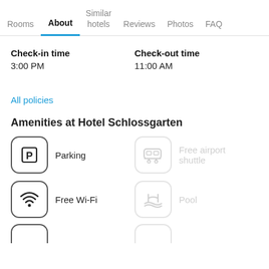Rooms | About | Similar hotels | Reviews | Photos | FAQ
Check-in time
3:00 PM
Check-out time
11:00 AM
All policies
Amenities at Hotel Schlossgarten
Parking
Free airport shuttle
Free Wi-Fi
Pool